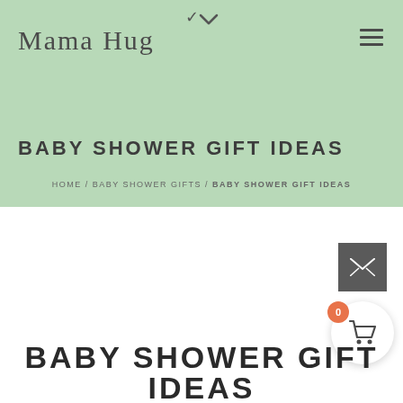Mama Hug
BABY SHOWER GIFT IDEAS
HOME / BABY SHOWER GIFTS / BABY SHOWER GIFT IDEAS
BABY SHOWER GIFT IDEAS